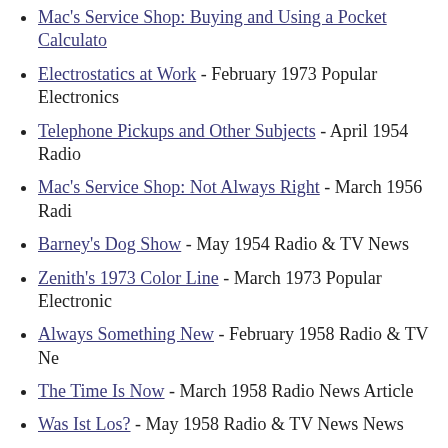Mac's Service Shop: Buying and Using a Pocket Calculator
Electrostatics at Work - February 1973 Popular Electronics
Telephone Pickups and Other Subjects - April 1954 Radio
Mac's Service Shop: Not Always Right - March 1956 Radi
Barney's Dog Show - May 1954 Radio & TV News
Zenith's 1973 Color Line - March 1973 Popular Electronic
Always Something New - February 1958 Radio & TV Ne
The Time Is Now - March 1958 Radio News Article
Was Ist Los? - May 1958 Radio & TV News News
A Little Dog and SSB Tuning - November 1958 Radio & T
New Breed of Test Equipment - September 1972 Popular E
Barney is Promoted - May 1948 Radio News